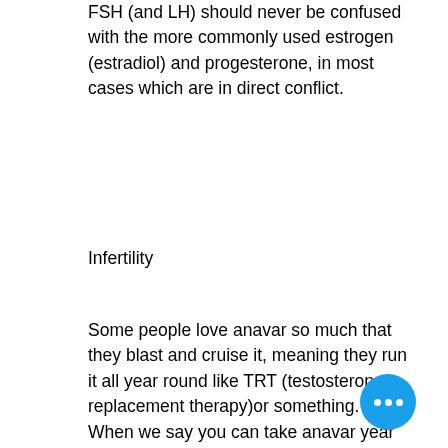FSH (and LH) should never be confused with the more commonly used estrogen (estradiol) and progesterone, in most cases which are in direct conflict.
Infertility
Some people love anavar so much that they blast and cruise it, meaning they run it all year round like TRT (testosterone replacement therapy)or something. When we say you can take anavar year round, we're talking about a daily dose, not taking the exact same dose every day, every week or every day. This will cause muscle growth, decrease inflammation, and prevent muscle breakdown. Anavar is an anti-inflammatory medication, and as such it will help to build muscle and prevent muscle breakdown